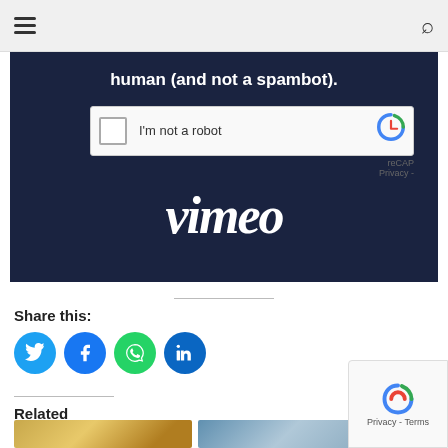[Figure (screenshot): Vimeo video player with reCAPTCHA overlay. Dark navy background with text 'human (and not a spambot).' and a reCAPTCHA 'I'm not a robot' checkbox widget, and the Vimeo logo in white italic script at the bottom.]
Share this:
[Figure (infographic): Social media share buttons: Twitter (blue bird), Facebook (blue f), WhatsApp (green), LinkedIn (dark blue)]
Related
[Figure (photo): Two thumbnail images for related articles: one showing golden/sunset clouds, one showing a modern glass building exterior.]